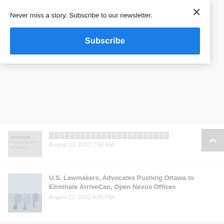Never miss a story. Subscribe to our newsletter.
Subscribe
August 23, 2022 7:56 AM
U.S. Lawmakers, Advocates Pushing Ottawa to Eliminate ArriveCan, Open Nexus Offices
August 22, 2022 4:05 PM
[Figure (photo): Airport crowd scene with luggage]
[Figure (photo): Access Credit Union ad banner — dark navy background with stars and door icon; bottom strip: At home with Access, local mortgage experts, comfortable payment plans, Learn More button]
[Figure (logo): Access Credit Union logo]